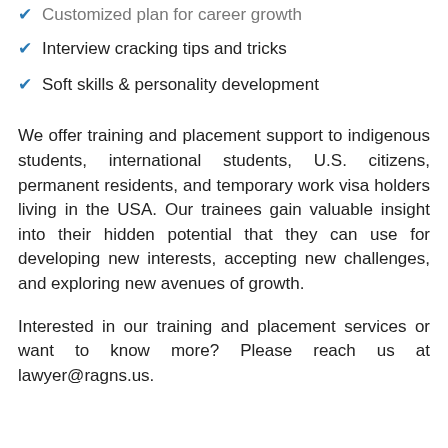Customized plan for career growth
Interview cracking tips and tricks
Soft skills & personality development
We offer training and placement support to indigenous students, international students, U.S. citizens, permanent residents, and temporary work visa holders living in the USA. Our trainees gain valuable insight into their hidden potential that they can use for developing new interests, accepting new challenges, and exploring new avenues of growth.
Interested in our training and placement services or want to know more? Please reach us at lawyer@ragns.us.